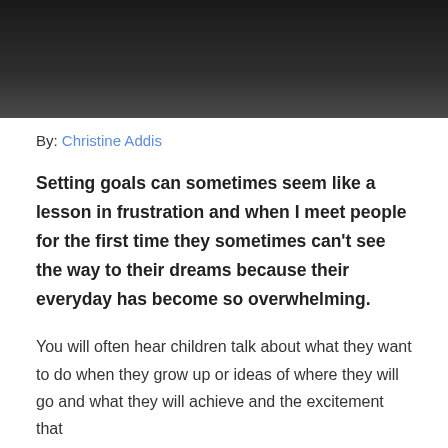[Figure (photo): Dark gradient header image, black to dark gray]
By: Christine Addis
Setting goals can sometimes seem like a lesson in frustration and when I meet people for the first time they sometimes can't see the way to their dreams because their everyday has become so overwhelming.
You will often hear children talk about what they want to do when they grow up or ideas of where they will go and what they will achieve and the excitement that